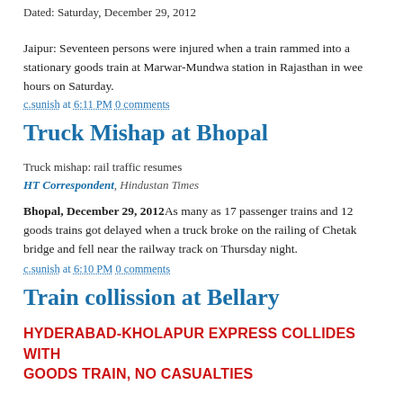Dated: Saturday, December 29, 2012
Jaipur: Seventeen persons were injured when a train rammed into a stationary goods train at Marwar-Mundwa station in Rajasthan in wee hours on Saturday.
c.sunish at 6:11 PM 0 comments
Truck Mishap at Bhopal
Truck mishap: rail traffic resumes
HT Correspondent, Hindustan Times
Bhopal, December 29, 2012As many as 17 passenger trains and 12 goods trains got delayed when a truck broke on the railing of Chetak bridge and fell near the railway track on Thursday night.
c.sunish at 6:10 PM 0 comments
Train collission at Bellary
HYDERABAD-KHOLAPUR EXPRESS COLLIDES WITH GOODS TRAIN, NO CASUALTIES